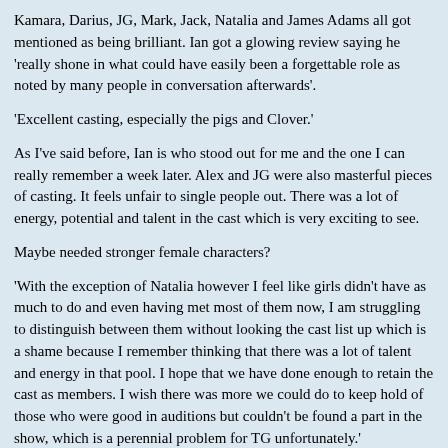Kamara, Darius, JG, Mark, Jack, Natalia and James Adams all got mentioned as being brilliant. Ian got a glowing review saying he 'really shone in what could have easily been a forgettable role as noted by many people in conversation afterwards'.
'Excellent casting, especially the pigs and Clover.'
As I've said before, Ian is who stood out for me and the one I can really remember a week later. Alex and JG were also masterful pieces of casting. It feels unfair to single people out. There was a lot of energy, potential and talent in the cast which is very exciting to see.
Maybe needed stronger female characters?
'With the exception of Natalia however I feel like girls didn't have as much to do and even having met most of them now, I am struggling to distinguish between them without looking the cast list up which is a shame because I remember thinking that there was a lot of talent and energy in that pool. I hope that we have done enough to retain the cast as members. I wish there was more we could do to keep hold of those who were good in auditions but couldn't be found a part in the show, which is a perennial problem for TG unfortunately.'
TECH